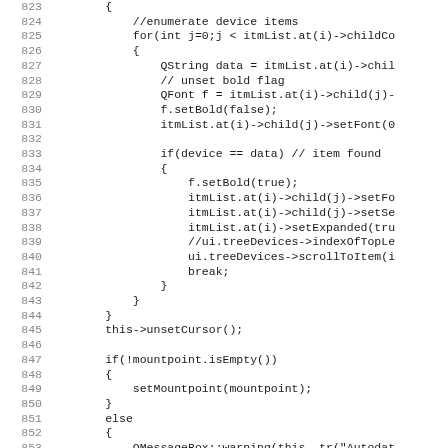[Figure (screenshot): Source code listing showing C++ code lines 823–853, featuring a nested loop that enumerates device items, checks for a matching device, sets bold font, expands tree items, scrolls to item, then handles mountpoint logic.]